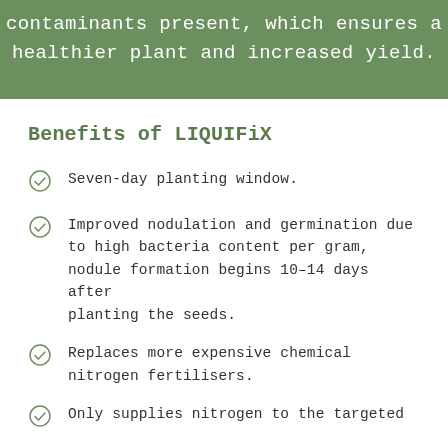contaminants present, which ensures a healthier plant and increased yield.
Benefits of LIQUIFiX
Seven-day planting window.
Improved nodulation and germination due to high bacteria content per gram, nodule formation begins 10–14 days after planting the seeds.
Replaces more expensive chemical nitrogen fertilisers.
Only supplies nitrogen to the targeted...